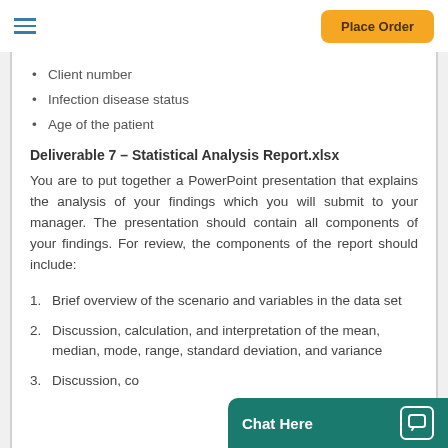Place Order
Client number
Infection disease status
Age of the patient
Deliverable 7 – Statistical Analysis Report.xlsx
You are to put together a PowerPoint presentation that explains the analysis of your findings which you will submit to your manager. The presentation should contain all components of your findings. For review, the components of the report should include:
Brief overview of the scenario and variables in the data set
Discussion, calculation, and interpretation of the mean, median, mode, range, standard deviation, and variance
Discussion, co…